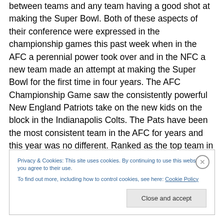between teams and any team having a good shot at making the Super Bowl. Both of these aspects of their conference were expressed in the championship games this past week when in the AFC a perennial power took over and in the NFC a new team made an attempt at making the Super Bowl for the first time in four years. The AFC Championship Game saw the consistently powerful New England Patriots take on the new kids on the block in the Indianapolis Colts. The Pats have been the most consistent team in the AFC for years and this year was no different. Ranked as the top team in the conference they
Privacy & Cookies: This site uses cookies. By continuing to use this website, you agree to their use.
To find out more, including how to control cookies, see here: Cookie Policy
Close and accept